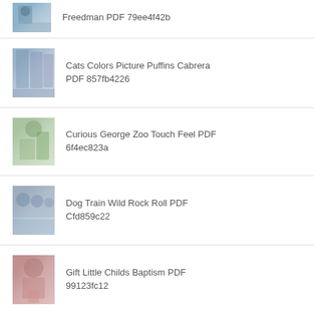Freedman PDF 79ee4f42b
Cats Colors Picture Puffins Cabrera PDF 857fb4226
Curious George Zoo Touch Feel PDF 6f4ec823a
Dog Train Wild Rock Roll PDF Cfd859c22
Gift Little Childs Baptism PDF 99123fc12